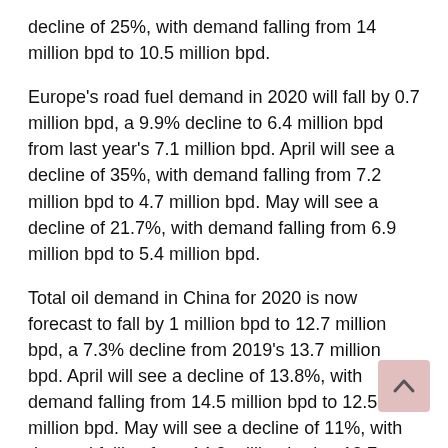decline of 25%, with demand falling from 14 million bpd to 10.5 million bpd.
Europe's road fuel demand in 2020 will fall by 0.7 million bpd, a 9.9% decline to 6.4 million bpd from last year's 7.1 million bpd. April will see a decline of 35%, with demand falling from 7.2 million bpd to 4.7 million bpd. May will see a decline of 21.7%, with demand falling from 6.9 million bpd to 5.4 million bpd.
Total oil demand in China for 2020 is now forecast to fall by 1 million bpd to 12.7 million bpd, a 7.3% decline from 2019's 13.7 million bpd. April will see a decline of 13.8%, with demand falling from 14.5 million bpd to 12.5 million bpd. May will see a decline of 11%, with demand falling from 14.2 million bpd to 12.7 million bpd.
China's road fuel demand in 2020 will fall by 0.3 million bpd, a 5.7% decline to 5 million bpd from last year's 5.3 million bpd. April will see a decline of 4%, with demand falling from 5 million bpd to 4.8 million bpd. May will see a decline of 10.7%,